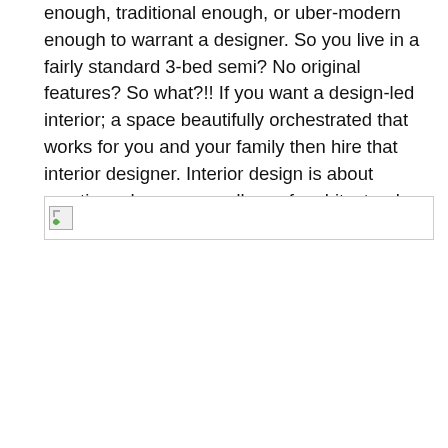enough, traditional enough, or uber-modern enough to warrant a designer. So you live in a fairly standard 3-bed semi? No original features? So what?!! If you want a design-led interior; a space beautifully orchestrated that works for you and your family then hire that interior designer. Interior design is about creating a home, regardless of architectural features. Homes come in all shapes and sizes.
[Figure (photo): Broken/missing image placeholder shown as a small icon with border]